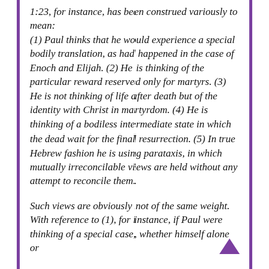1:23, for instance, has been construed variously to mean: (1) Paul thinks that he would experience a special bodily translation, as had happened in the case of Enoch and Elijah. (2) He is thinking of the particular reward reserved only for martyrs. (3) He is not thinking of life after death but of the identity with Christ in martyrdom. (4) He is thinking of a bodiless intermediate state in which the dead wait for the final resurrection. (5) In true Hebrew fashion he is using parataxis, in which mutually irreconcilable views are held without any attempt to reconcile them.
Such views are obviously not of the same weight. With reference to (1), for instance, if Paul were thinking of a special case, whether himself alone or